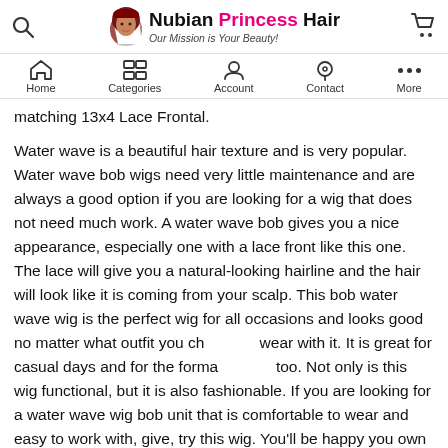Nubian Princess Hair - Our Mission is Your Beauty!
matching 13x4 Lace Frontal.
Water wave is a beautiful hair texture and is very popular. Water wave bob wigs need very little maintenance and are always a good option if you are looking for a wig that does not need much work. A water wave bob gives you a nice appearance, especially one with a lace front like this one. The lace will give you a natural-looking hairline and the hair will look like it is coming from your scalp. This bob water wave wig is the perfect wig for all occasions and looks good no matter what outfit you choose to wear with it. It is great for casual days and for the formal too. Not only is this wig functional, but it is also fashionable. If you are looking for a water wave wig bob unit that is comfortable to wear and easy to work with, give, try this wig. You'll be happy you own it!